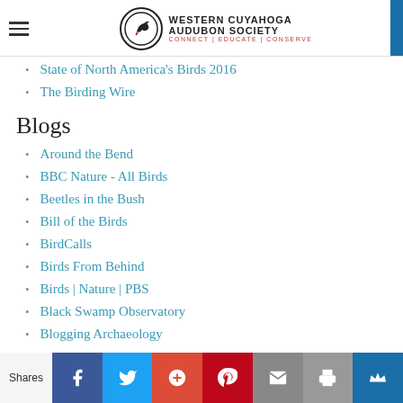Western Cuyahoga Audubon Society — Connect | Educate | Conserve
State of North America's Birds 2016
The Birding Wire
Blogs
Around the Bend
BBC Nature - All Birds
Beetles in the Bush
Bill of the Birds
BirdCalls
Birds From Behind
Birds | Nature | PBS
Black Swamp Observatory
Blogging Archaeology
Blue Jay Barrens
Shares | Facebook | Twitter | Google+ | Pinterest | Email | Print | Crown